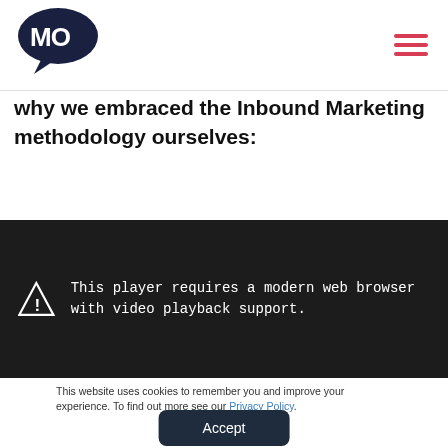[Figure (logo): MO logo — stylized speech bubble with MO text in dark navy]
why we embraced the Inbound Marketing methodology ourselves:
[Figure (screenshot): Video player showing error: This player requires a modern web browser with video playback support.]
This website uses cookies to remember you and improve your experience. To find out more see our Privacy Policy.
Accept